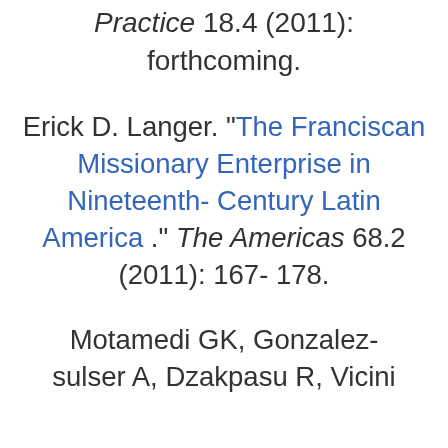Practice 18.4 (2011): forthcoming.
Erick D. Langer. "The Franciscan Missionary Enterprise in Nineteenth-Century Latin America ." The Americas 68.2 (2011): 167-178.
Motamedi GK, Gonzalez-sulser A, Dzakpasu R, Vicini